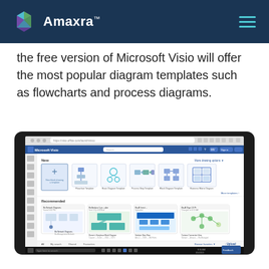Amaxra
the free version of Microsoft Visio will offer the most popular diagram templates such as flowcharts and process diagrams.
[Figure (screenshot): Screenshot of Microsoft Visio online interface showing the home screen with diagram templates including Flowchart Template, Basic Diagram Template, Process Step Template, Block Diagram Template, and Business Matrix Diagram. Below are recommended recently used diagrams showing network diagrams, block diagrams, data flow, and connection views.]